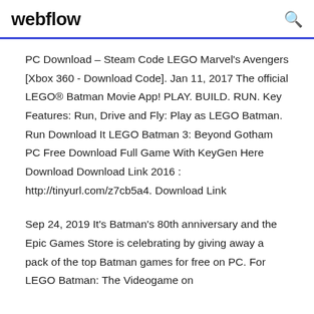webflow
PC Download – Steam Code LEGO Marvel's Avengers [Xbox 360 - Download Code]. Jan 11, 2017 The official LEGO® Batman Movie App! PLAY. BUILD. RUN. Key Features: Run, Drive and Fly: Play as LEGO Batman. Run Download It LEGO Batman 3: Beyond Gotham PC Free Download Full Game With KeyGen Here Download Download Link 2016 : http://tinyurl.com/z7cb5a4. Download Link
Sep 24, 2019 It's Batman's 80th anniversary and the Epic Games Store is celebrating by giving away a pack of the top Batman games for free on PC. For LEGO Batman: The Videogame on